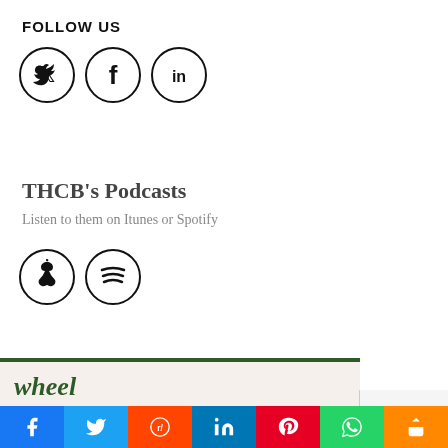FOLLOW US
[Figure (illustration): Three social media icons in circles: Twitter (bird), Facebook (f), LinkedIn (in)]
THCB's Podcasts
Listen to them on Itunes or Spotify
[Figure (illustration): Two podcast platform icons in circles: Apple Podcasts, Spotify]
[Figure (screenshot): Wheel ad block with headline: Reduce operating costs fast without sacrificing clinical quality]
[Figure (illustration): reCAPTCHA widget in bottom right corner]
[Figure (infographic): Social share bar with Facebook, Twitter, Reddit, LinkedIn, Pinterest, WhatsApp, and More buttons]